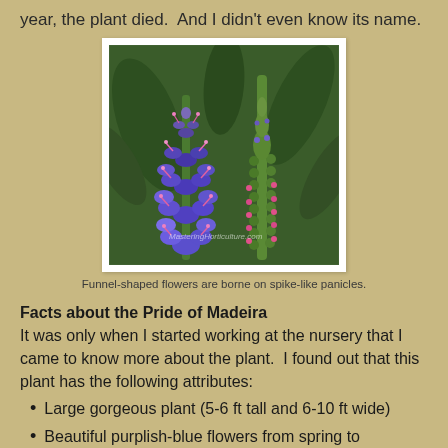year, the plant died.  And I didn't even know its name.
[Figure (photo): Two spike-like flower panicles of Pride of Madeira (Echium candicans). Left spike shows fully open funnel-shaped purple-blue flowers with pink stamens. Right spike shows green budding panicle with small pink buds beginning to open. Green foliage in background. Watermark reads MasteringHorticulture.com]
Funnel-shaped flowers are borne on spike-like panicles.
Facts about the Pride of Madeira
It was only when I started working at the nursery that I came to know more about the plant.  I found out that this plant has the following attributes:
Large gorgeous plant (5-6 ft tall and 6-10 ft wide)
Beautiful purplish-blue flowers from spring to